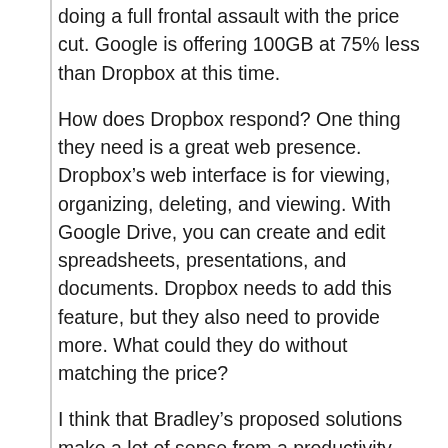doing a full frontal assault with the price cut. Google is offering 100GB at 75% less than Dropbox at this time.
How does Dropbox respond? One thing they need is a great web presence. Dropbox’s web interface is for viewing, organizing, deleting, and viewing. With Google Drive, you can create and edit spreadsheets, presentations, and documents. Dropbox needs to add this feature, but they also need to provide more. What could they do without matching the price?
I think that Bradley’s proposed solutions make a lot of sense from a productivity standpoint, but I’ll add this as a way the Dropbox and…